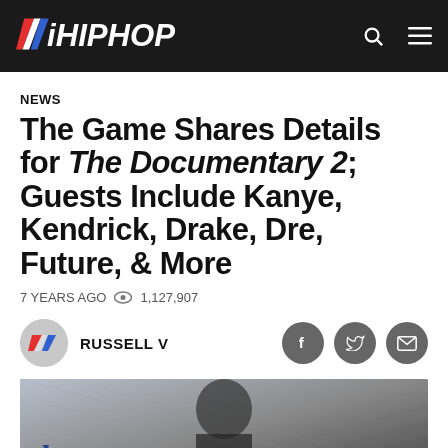iHIPHOP
NEWS
The Game Shares Details for The Documentary 2; Guests Include Kanye, Kendrick, Drake, Dre, Future, & More
7 YEARS AGO  👁  1,127,907
RUSSELL V
[Figure (photo): Album art image showing a person in front of chain-link fence with gothic blue and red text overlays reading 'The Doc' and 'the' partial text]